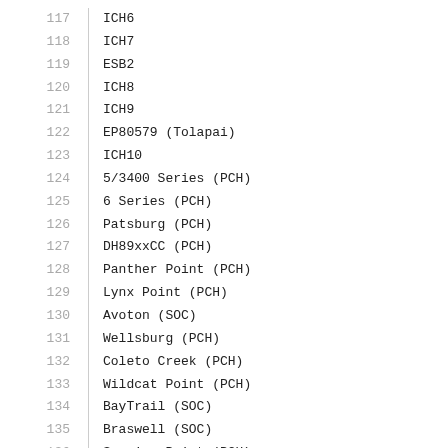| Number | Name |
| --- | --- |
| 117 | ICH6 |
| 118 | ICH7 |
| 119 | ESB2 |
| 120 | ICH8 |
| 121 | ICH9 |
| 122 | EP80579 (Tolapai) |
| 123 | ICH10 |
| 124 | 5/3400 Series (PCH) |
| 125 | 6 Series (PCH) |
| 126 | Patsburg (PCH) |
| 127 | DH89xxCC (PCH) |
| 128 | Panther Point (PCH) |
| 129 | Lynx Point (PCH) |
| 130 | Avoton (SOC) |
| 131 | Wellsburg (PCH) |
| 132 | Coleto Creek (PCH) |
| 133 | Wildcat Point (PCH) |
| 134 | BayTrail (SOC) |
| 135 | Braswell (SOC) |
| 136 | Sunrise Point (PCH) |
| 137 | Kaby Lake (PCH) |